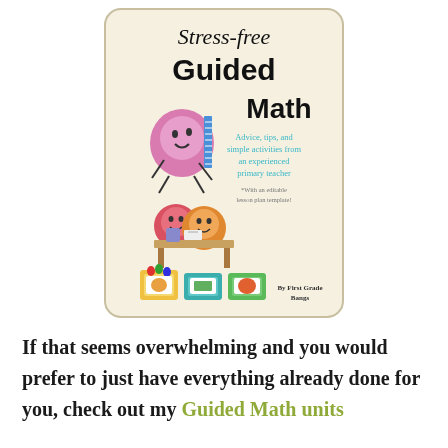[Figure (illustration): Book cover for 'Stress-free Guided Math' by First Grade Bangs. Features cartoon balloon characters, colorful supply bins, and text: 'Advice, tips, and simple activities from an experienced primary teacher. *With an editable lesson plan template!']
If that seems overwhelming and you would prefer to just have everything already done for you, check out my Guided Math units